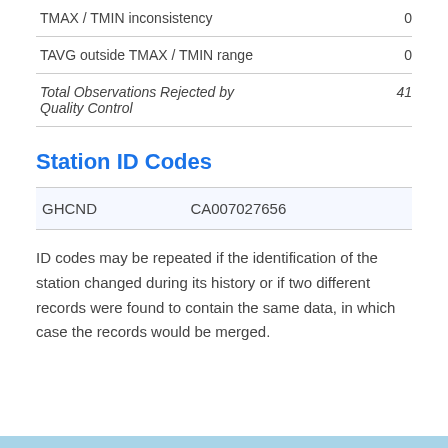| TMAX / TMIN inconsistency | 0 |
| TAVG outside TMAX / TMIN range | 0 |
| Total Observations Rejected by Quality Control | 41 |
Station ID Codes
| GHCND | CA007027656 |
| --- | --- |
ID codes may be repeated if the identification of the station changed during its history or if two different records were found to contain the same data, in which case the records would be merged.